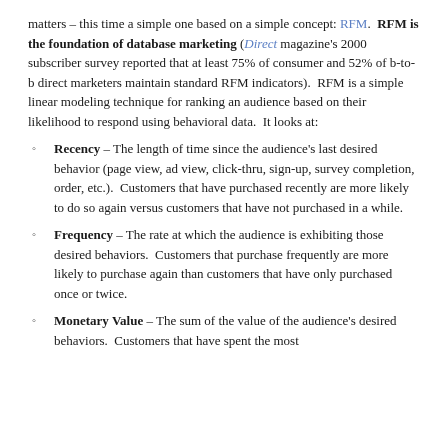matters – this time a simple one based on a simple concept: RFM. RFM is the foundation of database marketing (Direct magazine's 2000 subscriber survey reported that at least 75% of consumer and 52% of b-to-b direct marketers maintain standard RFM indicators). RFM is a simple linear modeling technique for ranking an audience based on their likelihood to respond using behavioral data. It looks at:
Recency – The length of time since the audience's last desired behavior (page view, ad view, click-thru, sign-up, survey completion, order, etc.). Customers that have purchased recently are more likely to do so again versus customers that have not purchased in a while.
Frequency – The rate at which the audience is exhibiting those desired behaviors. Customers that purchase frequently are more likely to purchase again than customers that have only purchased once or twice.
Monetary Value – The sum of the value of the audience's desired behaviors. Customers that have spent the most...